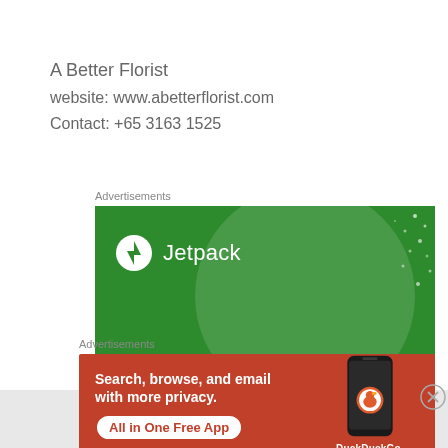A Better Florist
website: www.abetterflorist.com
Contact: +65 3163 1525
Advertisements
[Figure (infographic): Jetpack advertisement on green background with logo and tagline 'The best real-time']
Advertisements
[Figure (infographic): DuckDuckGo advertisement on orange/red background with text 'Search, browse, and email with more privacy. All in One Free App' and DuckDuckGo logo with phone image]